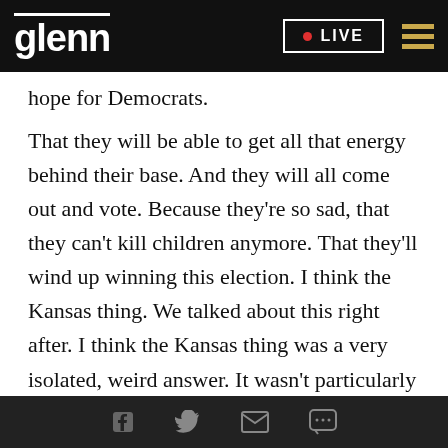glenn | LIVE
hope for Democrats.
That they will be able to get all that energy behind their base. And they will all come out and vote. Because they're so sad, that they can't kill children anymore. That they'll wind up winning this election. I think the Kansas thing. We talked about this right after. I think the Kansas thing was a very isolated, weird answer. It wasn't particularly written well. It was right after the overturn. Which was not planned. It was supposed to happen before an overturn of Roe vs. Wade happened. That was the idea behind it
Facebook | Twitter | Email | SMS